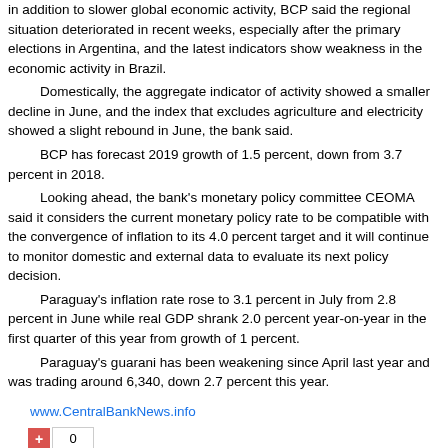in addition to slower global economic activity, BCP said the regional situation deteriorated in recent weeks, especially after the primary elections in Argentina, and the latest indicators show weakness in the economic activity in Brazil. Domestically, the aggregate indicator of activity showed a smaller decline in June, and the index that excludes agriculture and electricity showed a slight rebound in June, the bank said. BCP has forecast 2019 growth of 1.5 percent, down from 3.7 percent in 2018. Looking ahead, the bank's monetary policy committee CEOMA said it considers the current monetary policy rate to be compatible with the convergence of inflation to its 4.0 percent target and it will continue to monitor domestic and external data to evaluate its next policy decision. Paraguay's inflation rate rose to 3.1 percent in July from 2.8 percent in June while real GDP shrank 2.0 percent year-on-year in the first quarter of this year from growth of 1 percent. Paraguay's guarani has been weakening since April last year and was trading around 6,340, down 2.7 percent this year.
www.CentralBankNews.info
+ 0
Labels: Banco Central del Paraguay, Central Bank of Paraguay, Foreign Exchange, Monetary Policy, South America
0 comments:
Post a Comment